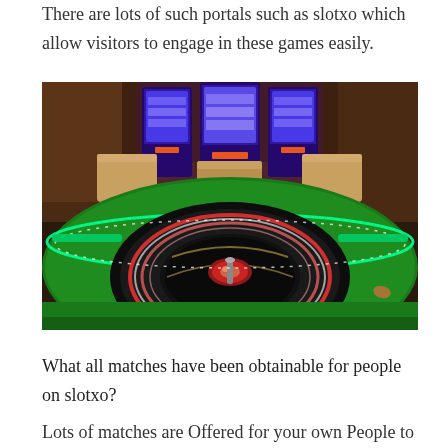There are lots of such portals such as slotxo which allow visitors to engage in these games easily.
[Figure (photo): Casino roulette wheel with glowing LED lights on a green felt table, with slot machines visible in the background]
What all matches have been obtainable for people on slotxo?
Lots of matches are Offered for your own People to